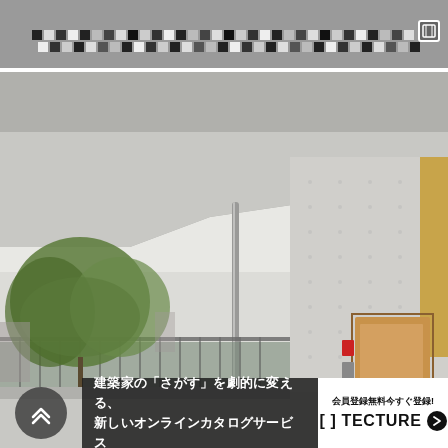[Figure (photo): Top banner photo showing a tiled/mosaic pattern roof or wall with black and white geometric tiles]
[Figure (photo): Main architectural photo of a modern building with exposed concrete facade, a slim metal pole/column, a wooden door with red panel, glass railing, green trees in background, large overhanging canopy roof]
建築家の「さがす」を劇的に変える、新しいオンラインカタログサービス
会員登録無料今すぐ登録！[ ] TECTURE